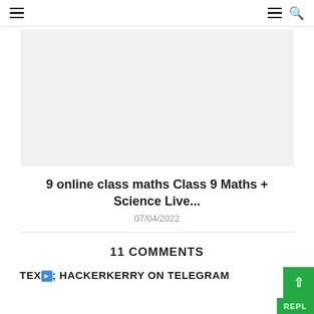≡   ≡ 🔍
[Figure (other): Gray placeholder image block for article thumbnail]
9 online class maths Class 9 Maths + Science Live...
07/04/2022
11 COMMENTS
TEX➡; HACKERKERRY ON TELEGRAM
REPLY